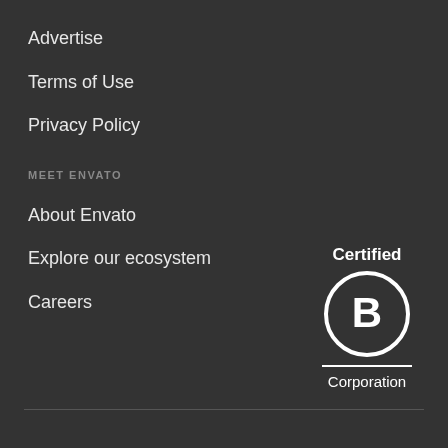Advertise
Terms of Use
Privacy Policy
MEET ENVATO
About Envato
Explore our ecosystem
Careers
[Figure (logo): Certified B Corporation logo — circle with letter B, horizontal rule, and text 'Certified' above and 'Corporation' below]